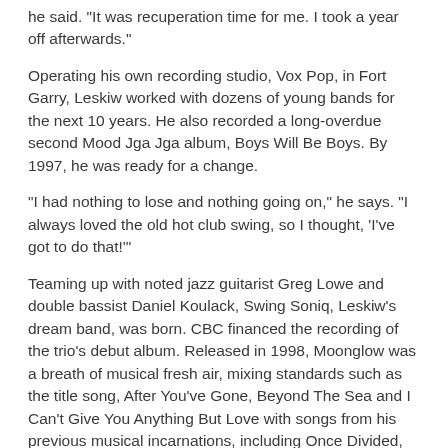he said. "It was recuperation time for me. I took a year off afterwards."
Operating his own recording studio, Vox Pop, in Fort Garry, Leskiw worked with dozens of young bands for the next 10 years. He also recorded a long-overdue second Mood Jga Jga album, Boys Will Be Boys. By 1997, he was ready for a change.
"I had nothing to lose and nothing going on," he says. "I always loved the old hot club swing, so I thought, 'I've got to do that!'"
Teaming up with noted jazz guitarist Greg Lowe and double bassist Daniel Koulack, Swing Soniq, Leskiw's dream band, was born. CBC financed the recording of the trio's debut album. Released in 1998, Moonglow was a breath of musical fresh air, mixing standards such as the title song, After You've Gone, Beyond The Sea and I Can't Give You Anything But Love with songs from his previous musical incarnations, including Once Divided, Gimme My Money, plus Kilowatt songs Ma Cherie and Step Aside. The album swung from start to finish.
"Acoustic guitar is my first instrument, and I'm back on it," Leskiw said at the time. "I mean, what's a guy who idolized (gypsy guitar virtuoso)